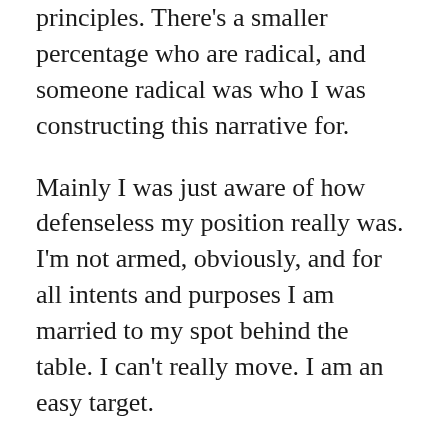principles. There's a smaller percentage who are radical, and someone radical was who I was constructing this narrative for.
Mainly I was just aware of how defenseless my position really was. I'm not armed, obviously, and for all intents and purposes I am married to my spot behind the table. I can't really move. I am an easy target.
The thing that's dumb about the situation, most of all, is that I've gotten into minor arguments of white guys of all ages, black guys, hispanic guys. But at no point did the thought ever cross my mind that, damn, this guy could be carrying right now and there's nothing I could do about it.